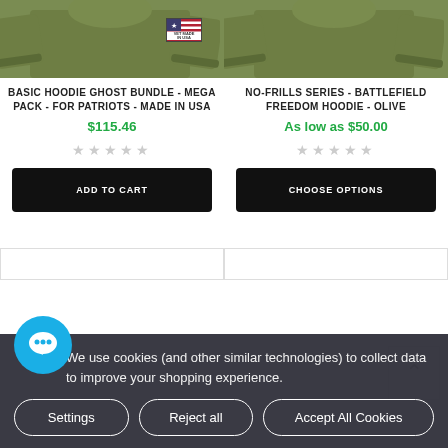[Figure (photo): Two olive-colored hoodies partially visible at top of page, left product also shows a USA flag patch badge]
BASIC HOODIE GHOST BUNDLE - MEGA PACK - FOR PATRIOTS - MADE IN USA
$115.46
★★★★★ (empty stars)
ADD TO CART
NO-FRILLS SERIES - BATTLEFIELD FREEDOM HOODIE - OLIVE
As low as $50.00
★★★★★ (empty stars)
CHOOSE OPTIONS
We use cookies (and other similar technologies) to collect data to improve your shopping experience.
Settings
Reject all
Accept All Cookies